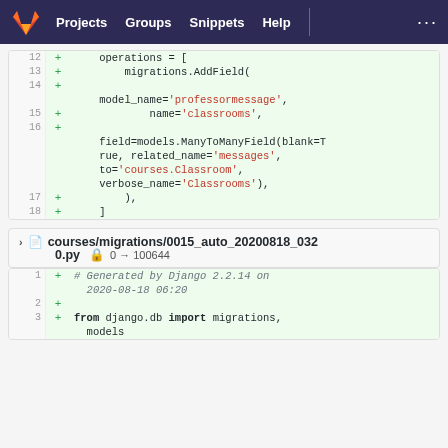GitLab — Projects  Groups  Snippets  Help  ...
[Figure (screenshot): Code diff showing lines 12–18 with additions: operations = [ migrations.AddField( model_name='professormessage', name='classrooms', field=models.ManyToManyField(blank=True, related_name='messages', to='courses.Classroom', verbose_name='Classrooms'), ), ]]
courses/migrations/0015_auto_20200818_0320.py  0 → 100644
[Figure (screenshot): Code diff lines 1–3: # Generated by Django 2.2.14 on 2020-08-18 06:20 / (blank) / from django.db import migrations, models]